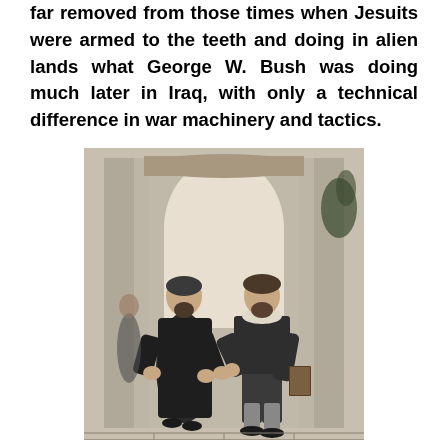far removed from those times when Jesuits were armed to the teeth and doing in alien lands what George W. Bush was doing much later in Iraq, with only a technical difference in war machinery and tactics.
[Figure (illustration): A black and white engraving or illustration depicting two men in historical attire standing together. One wears a long dark robe (possibly a Jesuit priest), the other wears more elaborate period clothing. They appear to be in conversation or greeting, set against an architectural background with an arch.]